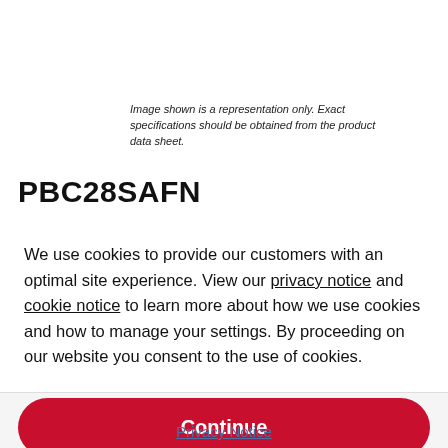Image shown is a representation only. Exact specifications should be obtained from the product data sheet.
PBC28SAFN
We use cookies to provide our customers with an optimal site experience. View our privacy notice and cookie notice to learn more about how we use cookies and how to manage your settings. By proceeding on our website you consent to the use of cookies.
Continue
Exit
Privacy Notice